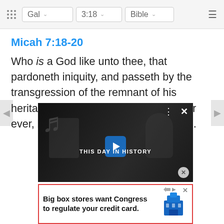Gal  3:18  Bible
Micah 7:18-20
Who is a God like unto thee, that pardoneth iniquity, and passeth by the transgression of the remnant of his heritage? he retaineth not his anger for ever, because he delighteth in mercy...
[Figure (screenshot): THIS DAY IN HISTORY video ad overlay with close button and menu dots, dark background with silhouetted figures and Virginia state seal]
[Figure (screenshot): Banner advertisement: Big box stores want Congress to regulate your credit card. Red border, blue building icon on right.]